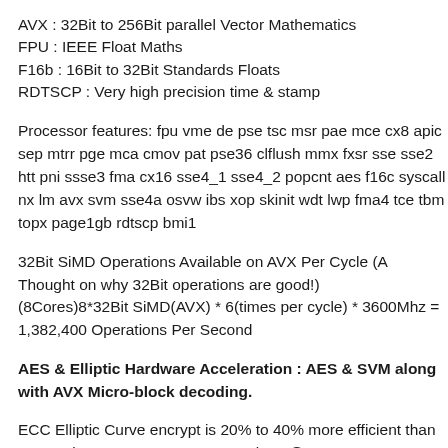AVX : 32Bit to 256Bit parallel Vector Mathematics
FPU : IEEE Float Maths
F16b : 16Bit to 32Bit Standards Floats
RDTSCP : Very high precision time & stamp
Processor features: fpu vme de pse tsc msr pae mce cx8 apic sep mtrr pge mca cmov pat pse36 clflush mmx fxsr sse sse2 htt pni ssse3 fma cx16 sse4_1 sse4_2 popcnt aes f16c syscall nx lm avx svm sse4a osvw ibs xop skinit wdt lwp fma4 tce tbm topx page1gb rdtscp bmi1
32Bit SiMD Operations Available on AVX Per Cycle (A Thought on why 32Bit operations are good!) (8Cores)8*32Bit SiMD(AVX) * 6(times per cycle) * 3600Mhz = 1,382,400 Operations Per Second
AES & Elliptic Hardware Acceleration : AES & SVM along with AVX Micro-block decoding.
ECC Elliptic Curve encrypt is 20% to 40% more efficient than Large Size RSA AES on game packets @ QUICC 512/384/256 AES Elliptic is clearly advantageous because of